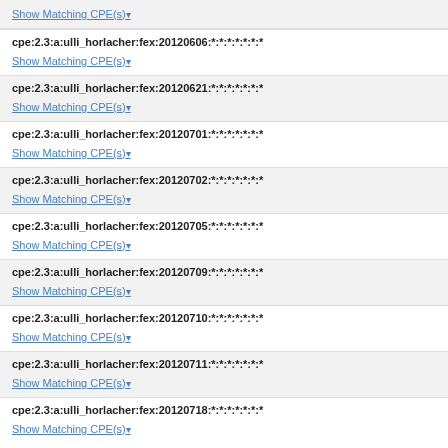Show Matching CPE(s) [partial top]
cpe:2.3:a:ulli_horlacher:fex:20120606:*:*:*:*:*:*:*
Show Matching CPE(s)
cpe:2.3:a:ulli_horlacher:fex:20120621:*:*:*:*:*:*:*
Show Matching CPE(s)
cpe:2.3:a:ulli_horlacher:fex:20120701:*:*:*:*:*:*:*
Show Matching CPE(s)
cpe:2.3:a:ulli_horlacher:fex:20120702:*:*:*:*:*:*:*
Show Matching CPE(s)
cpe:2.3:a:ulli_horlacher:fex:20120705:*:*:*:*:*:*:*
Show Matching CPE(s)
cpe:2.3:a:ulli_horlacher:fex:20120709:*:*:*:*:*:*:*
Show Matching CPE(s)
cpe:2.3:a:ulli_horlacher:fex:20120710:*:*:*:*:*:*:*
Show Matching CPE(s)
cpe:2.3:a:ulli_horlacher:fex:20120711:*:*:*:*:*:*:*
Show Matching CPE(s)
cpe:2.3:a:ulli_horlacher:fex:20120718:*:*:*:*:*:*:*
Show Matching CPE(s)